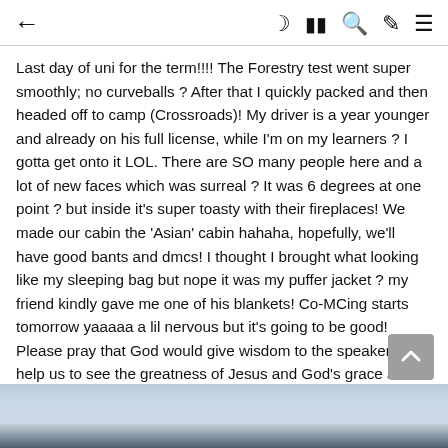← [blog title] ☾ ▦ 🔍 ✏ ≡
Last day of uni for the term!!!! The Forestry test went super smoothly; no curveballs ? After that I quickly packed and then headed off to camp (Crossroads)! My driver is a year younger and already on his full license, while I'm on my learners ? I gotta get onto it LOL. There are SO many people here and a lot of new faces which was surreal ? It was 6 degrees at one point ? but inside it's super toasty with their fireplaces! We made our cabin the 'Asian' cabin hahaha, hopefully, we'll have good bants and dmcs! I thought I brought what looking like my sleeping bag but nope it was my puffer jacket ? my friend kindly gave me one of his blankets! Co-MCing starts tomorrow yaaaaa a lil nervous but it's going to be good! Please pray that God would give wisdom to the speakers and help us to see the greatness of Jesus and God's grace and love and that people will come to receive Christ on this retreat!!!!
[Figure (photo): Outdoor scenic photo showing trees and sky, partial view at bottom of page]